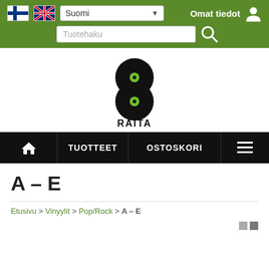Suomi language selector, Omat tiedot, Tuotehaku search bar
[Figure (logo): 8Raita record store logo — two vinyl records forming the figure 8, with green center labels, and RAITA text below]
Navigation bar: Home | TUOTTEET | OSTOSKORI | Menu
A – E
Etusivu > Vinyylit > Pop/Rock > A – E